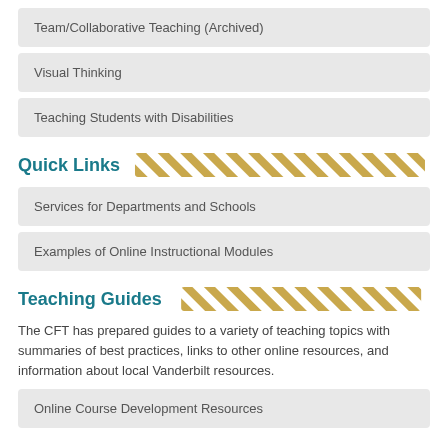Team/Collaborative Teaching (Archived)
Visual Thinking
Teaching Students with Disabilities
Quick Links
Services for Departments and Schools
Examples of Online Instructional Modules
Teaching Guides
The CFT has prepared guides to a variety of teaching topics with summaries of best practices, links to other online resources, and information about local Vanderbilt resources.
Online Course Development Resources